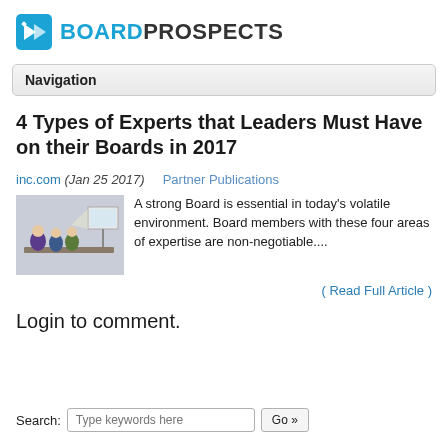BOARDPROSPECTS
Navigation
4 Types of Experts that Leaders Must Have on their Boards in 2017
inc.com (Jan 25 2017)   Partner Publications
[Figure (photo): People seated at a conference table with a presentation screen in the background]
A strong Board is essential in today's volatile environment. Board members with these four areas of expertise are non-negotiable....
( Read Full Article )
Login to comment.